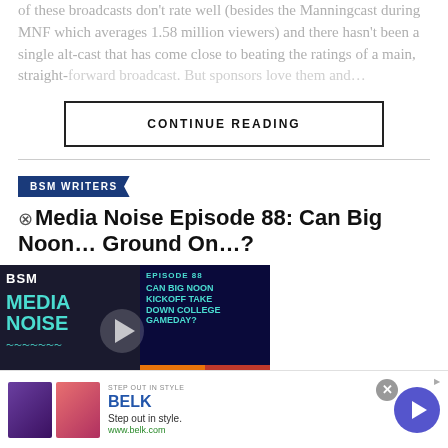of these broadcasts don't rate well (besides the Manningcast during MNF which averages 1.58 million viewers) and there hasn't been a single alt-cast that has come close to beating the ratings of a main, straight-forward broadcast. But sponsors love them and…
CONTINUE READING
BSM WRITERS
Media Noise Episode 88: Can Big Noon… Ground On…?
[Figure (screenshot): Media Noise podcast episode thumbnail with play button overlay. Left side shows dark blue/teal BSM Media Noise logo. Right side shows episode 88 details: CAN BIG NOON, KICKOFF TAKE DOWN COLLEGE GAMEDAY? Bottom shows College Gameday and Fox Big Noon tiles.]
August 26, 2022
[Figure (advertisement): Belk advertisement banner. Shows 'STEP OUT IN STYLE' eyebrow text, BELK brand name in blue, 'Step out in style.' tagline, www.belk.com URL, two product images, and a blue arrow button. Close button in top right.]